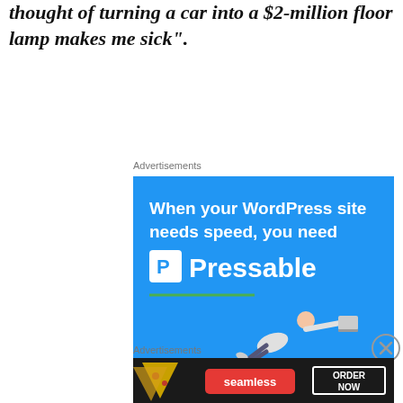thought of turning a car into a $2-million floor lamp makes me sick”.
Advertisements
[Figure (screenshot): Pressable WordPress hosting advertisement: blue background, text 'When your WordPress site needs speed, you need Pressable' with a person flying horizontally holding a laptop, green underline accent, and a 'START NOW' button with teal border.]
Advertisements
[Figure (screenshot): Seamless food delivery advertisement: dark background with pizza slices on the left, red Seamless logo in the center, and 'ORDER NOW' button with white border on dark background.]